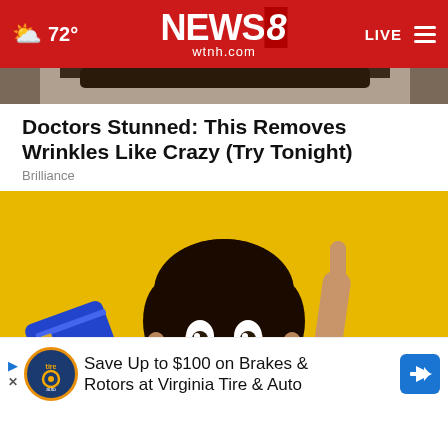72° NEWS 8 wtnh.com LIVE
[Figure (photo): Partial top image strip showing hair/person, cropped]
Doctors Stunned: This Removes Wrinkles Like Crazy (Try Tonight)
Brilliance
[Figure (photo): Young man with surprised expression holding a blue credit card and pointing finger up, against yellow background]
Save Up to $100 on Brakes & Rotors at Virginia Tire & Auto